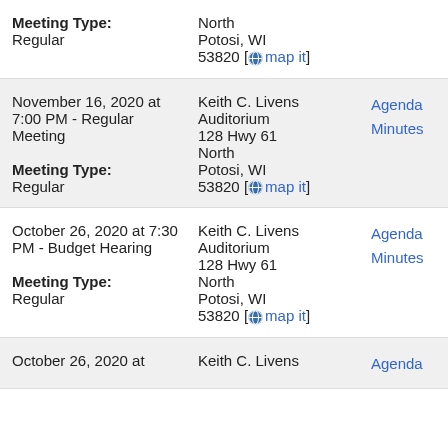| Date/Type | Location | Links |
| --- | --- | --- |
| Meeting Type:
Regular | North
Potosi, WI
53820 [map it] |  |
| November 16, 2020 at 7:00 PM - Regular Meeting
Meeting Type:
Regular | Keith C. Livens Auditorium
128 Hwy 61
North
Potosi, WI
53820 [map it] | Agenda
Minutes |
| October 26, 2020 at 7:30 PM - Budget Hearing
Meeting Type:
Regular | Keith C. Livens Auditorium
128 Hwy 61
North
Potosi, WI
53820 [map it] | Agenda
Minutes |
| October 26, 2020 at | Keith C. Livens | Agenda |